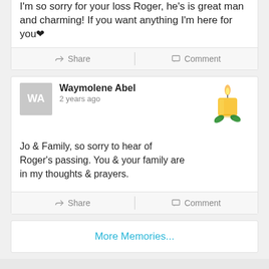I'm so sorry for your loss Roger, he's is great man and charming! If you want anything I'm here for you ❤
Share | Comment
Waymolene Abel
2 years ago
Jo & Family, so sorry to hear of Roger's passing. You & your family are in my thoughts & prayers.
[Figure (illustration): Yellow candle with green leaf decoration emoji]
Share | Comment
More Memories...
365 Days of Grief Support
Email Address | Subscribe